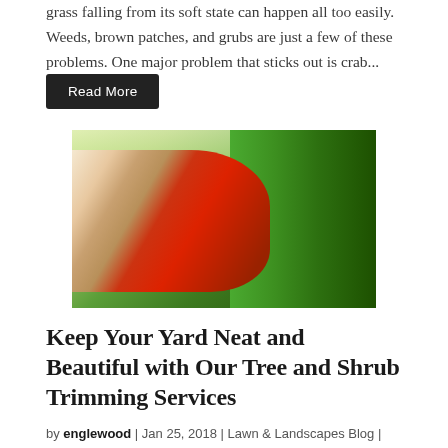grass falling from its soft state can happen all too easily. Weeds, brown patches, and grubs are just a few of these problems. One major problem that sticks out is crab...
Read More
[Figure (photo): A person holding a red electric hedge trimmer cutting a green hedge, photographed close up.]
Keep Your Yard Neat and Beautiful with Our Tree and Shrub Trimming Services
by englewood | Jan 25, 2018 | Lawn & Landscapes Blog |